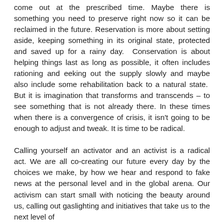come out at the prescribed time. Maybe there is something you need to preserve right now so it can be reclaimed in the future. Reservation is more about setting aside, keeping something in its original state, protected and saved up for a rainy day.  Conservation is about helping things last as long as possible, it often includes rationing and eeking out the supply slowly and maybe also include some rehabilitation back to a natural state.  But it is imagination that transforms and transcends – to see something that is not already there. In these times when there is a convergence of crisis, it isn't going to be enough to adjust and tweak. It is time to be radical.
Calling yourself an activator and an activist is a radical act. We are all co-creating our future every day by the choices we make, by how we hear and respond to fake news at the personal level and in the global arena. Our activism can start small with noticing the beauty around us, calling out gaslighting and initiatives that take us to the next level of